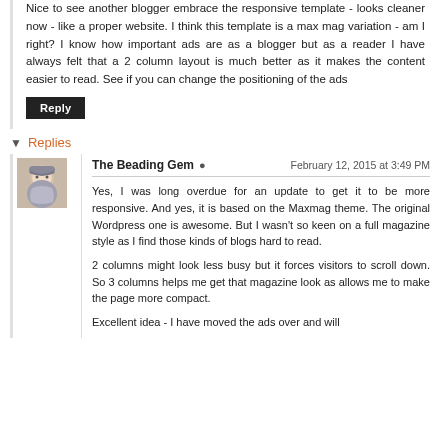Nice to see another blogger embrace the responsive template - looks cleaner now - like a proper website. I think this template is a max mag variation - am I right? I know how important ads are as a blogger but as a reader I have always felt that a 2 column layout is much better as it makes the content easier to read. See if you can change the positioning of the ads
Reply
Replies
The Beading Gem  February 12, 2015 at 3:49 PM
Yes, I was long overdue for an update to get it to be more responsive. And yes, it is based on the Maxmag theme. The original Wordpress one is awesome. But I wasn't so keen on a full magazine style as I find those kinds of blogs hard to read.

2 columns might look less busy but it forces visitors to scroll down. So 3 columns helps me get that magazine look as allows me to make the page more compact.

Excellent idea - I have moved the ads over and will